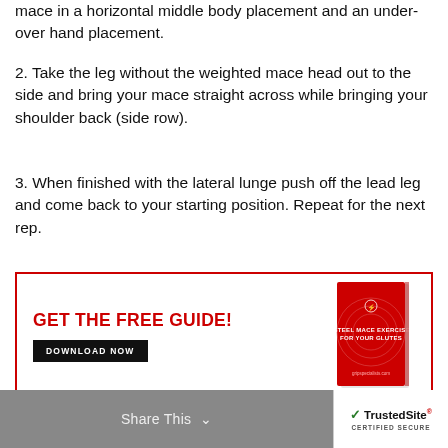mace in a horizontal middle body placement and an under-over hand placement.
2. Take the leg without the weighted mace head out to the side and bring your mace straight across while bringing your shoulder back (side row).
3. When finished with the lateral lunge push off the lead leg and come back to your starting position. Repeat for the next rep.
[Figure (infographic): Advertisement box with red border. Left side: red text 'GET THE FREE GUIDE!' and black button 'DOWNLOAD NOW'. Right side: red book with title '5 STEEL MACE EXERCISES FOR YOUR GLUTES'.]
Share This  ∨   TrustedSite CERTIFIED SECURE